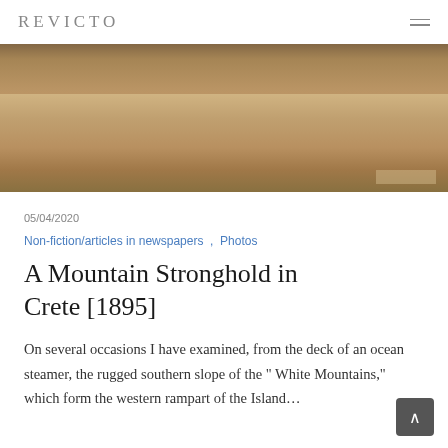REVICTO
[Figure (photo): Sepia-toned historical photograph of a waterfront scene with boats and buildings visible in the background, with a wide expanse of calm water in the foreground.]
05/04/2020
Non-fiction/articles in newspapers , Photos
A Mountain Stronghold in Crete [1895]
On several occasions I have examined, from the deck of an ocean steamer, the rugged southern slope of the " White Mountains," which form the western rampart of the Island…